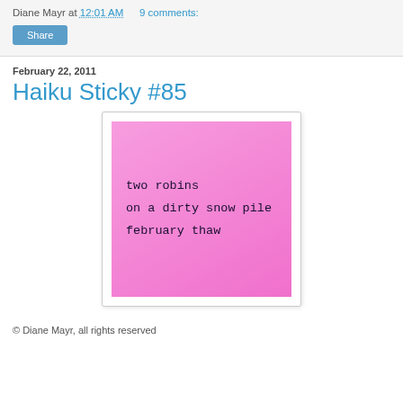Diane Mayr at 12:01 AM   9 comments:
Share
February 22, 2011
Haiku Sticky #85
[Figure (illustration): A pink sticky note with handwritten haiku text: 'two robins / on a dirty snow pile / february thaw', displayed on a white card with light border and shadow.]
© Diane Mayr, all rights reserved